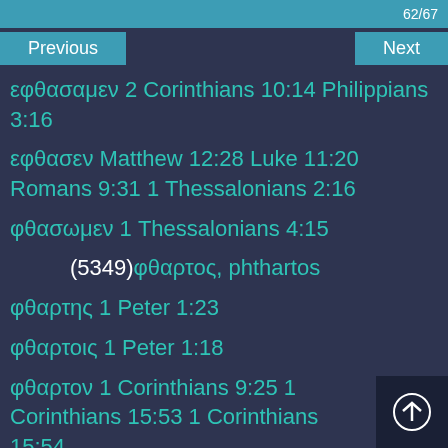62/67
Previous
Next
εφθασαμεν 2 Corinthians 10:14 Philippians 3:16
εφθασεν Matthew 12:28 Luke 11:20 Romans 9:31 1 Thessalonians 2:16
φθασωμεν 1 Thessalonians 4:15
(5349)φθαρτος, phthartos
φθαρτης 1 Peter 1:23
φθαρτοις 1 Peter 1:18
φθαρτον 1 Corinthians 9:25 1 Corinthians 15:53 1 Corinthians 15:54